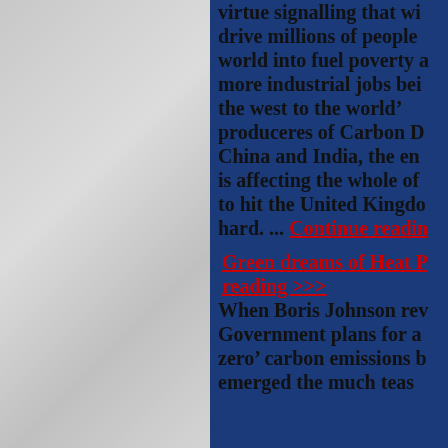virtue signalling that will drive millions of people around the world into fuel poverty and more industrial jobs being lost from the west to the world’s biggest produceres of Carbon Dioxide – China and India, the energy crisis is affecting the whole of Europe but to hit the United Kingdom especially hard. ... Continue reading
Green dreams of Heat Pumps Continue reading >>> When Boris Johnson revealed Government plans for achieving ‘net zero’ carbon emissions by 2050 emerged the much tease